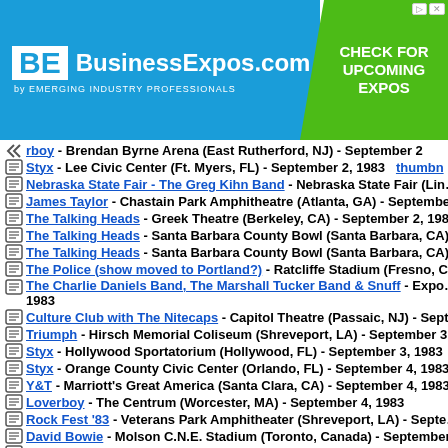[Figure (advertisement): BusinessExpos.com advertisement banner by Emerging Industry Professionals with green 'CHECK FOR UPCOMING EXPOS' call to action]
Loverboy - Brendan Byrne Arena (East Rutherford, NJ) - September 2...
Styx - Lee Civic Center (Ft. Myers, FL) - September 2, 1983  thumbnail
Nebraska State Fair - The Greg Kihn Band - Nebraska State Fair (Linc...
James Taylor - Chastain Park Amphitheatre (Atlanta, GA) - September...
The Talking Heads - Greek Theatre (Berkeley, CA) - September 2, 198...
The Talking Heads - Santa Barbara County Bowl (Santa Barbara, CA)...
The Talking Heads - Santa Barbara County Bowl (Santa Barbara, CA)...
The Police (show moved to Portland?) - Ratcliffe Stadium (Fresno, C...
The Charlie Daniels Band, The Marshall Tucker Band & Snuff - Expo... 1983
Culture Club with The Nitecaps - Capitol Theatre (Passaic, NJ) - Sept...
Triumph - Hirsch Memorial Coliseum (Shreveport, LA) - September 3...
Styx - Hollywood Sportatorium (Hollywood, FL) - September 3, 1983
Styx - Orange County Civic Center (Orlando, FL) - September 4, 1983
Y&T - Marriott's Great America (Santa Clara, CA) - September 4, 1983
Loverboy - The Centrum (Worcester, MA) - September 4, 1983
Rock Fest '83 - Veterans Park Amphitheater (Shreveport, LA) - Septe...
David Bowie - Molson C.N.E. Stadium (Toronto, Canada) - September...
Stevie Nicks with Joe Walsh - Mid-South Coliseum (Memphis, TN) - S...
The Talking Heads - Greek Theatre (Berkeley, CA) - September 4, 198...